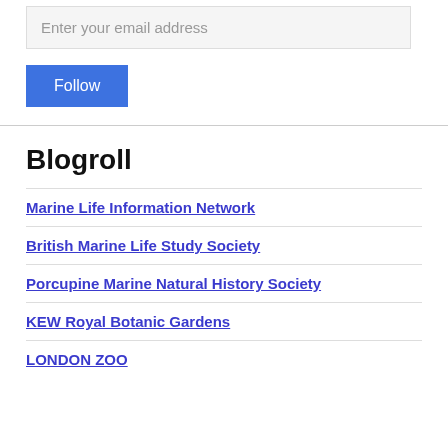Enter your email address
Follow
Blogroll
Marine Life Information Network
British Marine Life Study Society
Porcupine Marine Natural History Society
KEW Royal Botanic Gardens
LONDON ZOO